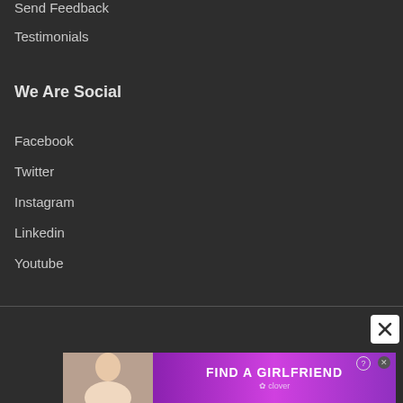Send Feedback
Testimonials
We Are Social
Facebook
Twitter
Instagram
Linkedin
Youtube
© 2012 – 2021 Loadedvilla – All Rights Reserved
[Figure (other): Social media icons: Facebook (f), Twitter (bird), Instagram (camera), LinkedIn (in)]
[Figure (other): Advertisement banner: FIND A GIRLFRIEND – clover app. Close button (X) in top right.]